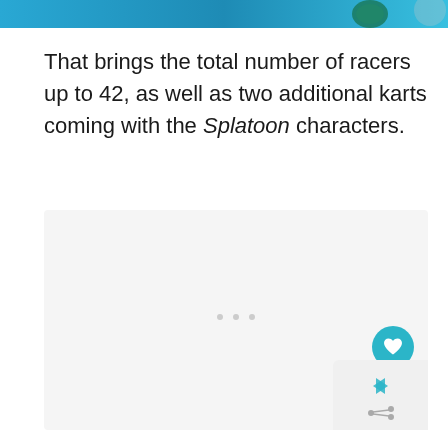[Figure (photo): Top portion of an image with a blue background, partially cropped at the top of the page]
That brings the total number of racers up to 42, as well as two additional karts coming with the Splatoon characters.
[Figure (other): A light gray content box with three small dots at the bottom center, representing a loading or placeholder area. A teal/cyan circular heart button overlays the bottom-right, and a widget with arrows appears in the bottom-right corner.]